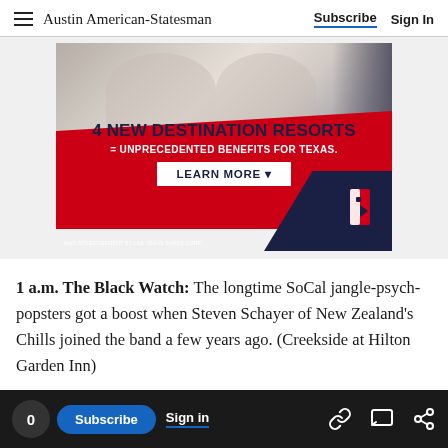Austin American-Statesman | Subscribe | Sign In
[Figure (photo): Advertisement banner for Las Vegas Sands Corp showing '4 NEW DESTINATION RESORTS = UNPRECEDENTED BENEFITS FOR TEXAS. LEARN MORE' with red background and people in robes in upper portion]
1 a.m. The Black Watch: The longtime SoCal jangle-psych-popsters got a boost when Steven Schayer of New Zealand's Chills joined the band a few years ago. (Creekside at Hilton Garden Inn)
0 | Subscribe | Sign in